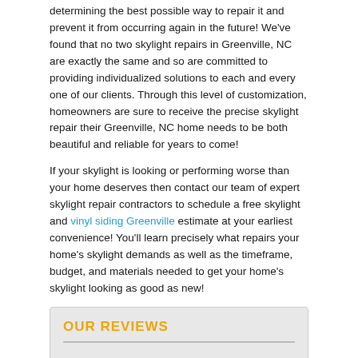determining the best possible way to repair it and prevent it from occurring again in the future! We've found that no two skylight repairs in Greenville, NC are exactly the same and so are committed to providing individualized solutions to each and every one of our clients. Through this level of customization, homeowners are sure to receive the precise skylight repair their Greenville, NC home needs to be both beautiful and reliable for years to come!
If your skylight is looking or performing worse than your home deserves then contact our team of expert skylight repair contractors to schedule a free skylight and vinyl siding Greenville estimate at your earliest convenience! You'll learn precisely what repairs your home's skylight demands as well as the timeframe, budget, and materials needed to get your home's skylight looking as good as new!
OUR REVIEWS
Reviews: ★★★★★
4.80/5 (96%) 21 votes
[Figure (logo): Angie's List logo and Citysearch logo side by side]